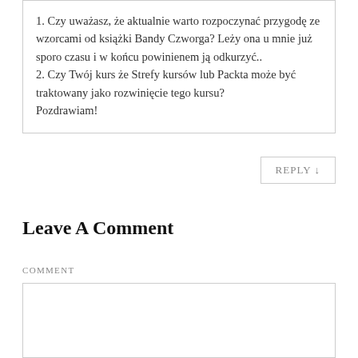1. Czy uważasz, że aktualnie warto rozpoczynać przygodę ze wzorcami od książki Bandy Czworga? Leży ona u mnie już sporo czasu i w końcu powinienem ją odkurzyć.. 2. Czy Twój kurs że Strefy kursów lub Packta może być traktowany jako rozwinięcie tego kursu? Pozdrawiam!
REPLY ↓
Leave A Comment
COMMENT